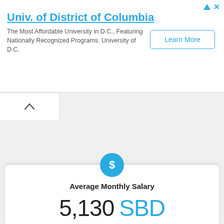[Figure (other): Advertisement banner for Univ. of District of Columbia with Learn More button]
Univ. of District of Columbia
The Most Affordable University in D.C., Featuring Nationally Recognized Programs. University of D.C.
Average Monthly Salary
5,130 SBD
( 61,600 SBD yearly)